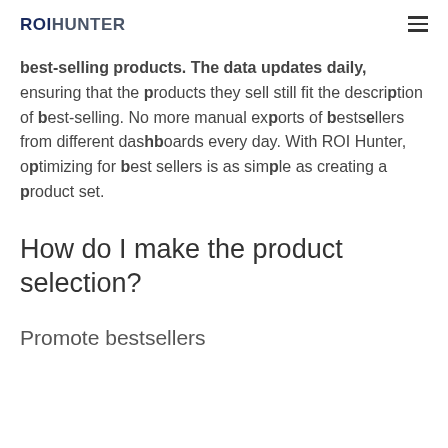ROIHUNTER
best-selling products. The data updates daily, ensuring that the products they sell still fit the description of best-selling. No more manual exports of bestsellers from different dashboards every day. With ROI Hunter, optimizing for best sellers is as simple as creating a product set.
How do I make the product selection?
Promote bestsellers